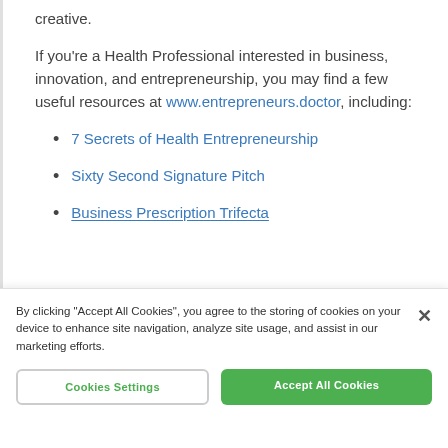creative.
If you're a Health Professional interested in business, innovation, and entrepreneurship, you may find a few useful resources at www.entrepreneurs.doctor, including:
7 Secrets of Health Entrepreneurship
Sixty Second Signature Pitch
Business Prescription Trifecta
By clicking "Accept All Cookies", you agree to the storing of cookies on your device to enhance site navigation, analyze site usage, and assist in our marketing efforts.